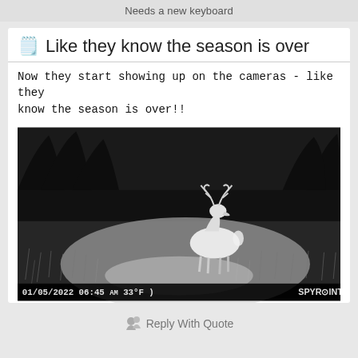Needs a new keyboard
Like they know the season is over
Now they start showing up on the cameras - like they know the season is over!!
[Figure (photo): Night trail camera (SPYPOINT) photo of a whitetail buck deer standing in a field/meadow at night. Timestamp overlay reads: 01/05/2022 06:45 AM  33°F  )  SPYPOINT]
Reply With Quote